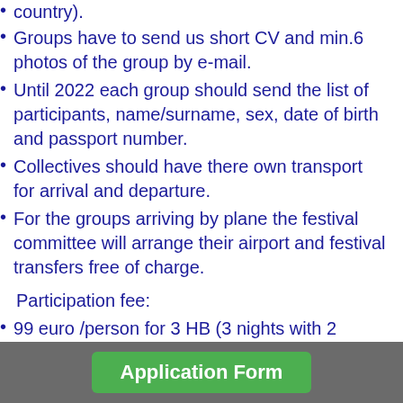country).
Groups have to send us short CV and min.6 photos of the group by e-mail.
Until 2022 each group should send the list of participants, name/surname, sex, date of birth and passport number.
Collectives should have there own transport for arrival and departure.
For the groups arriving by plane the festival committee will arrange their airport and festival transfers free of charge.
Participation fee:
99 euro /person for 3 HB (3 nights with 2 meals per day)
119 Euro /... 3 per ... with 2 meals per day
[Figure (other): Green Application Form button overlay on dark grey bar at bottom of page]